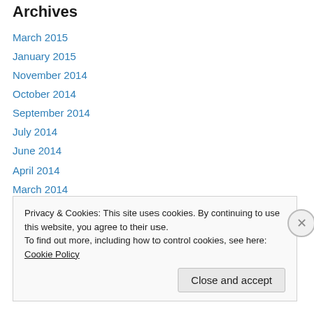Archives
March 2015
January 2015
November 2014
October 2014
September 2014
July 2014
June 2014
April 2014
March 2014
November 2013
October 2013
September 2013
Privacy & Cookies: This site uses cookies. By continuing to use this website, you agree to their use.
To find out more, including how to control cookies, see here: Cookie Policy